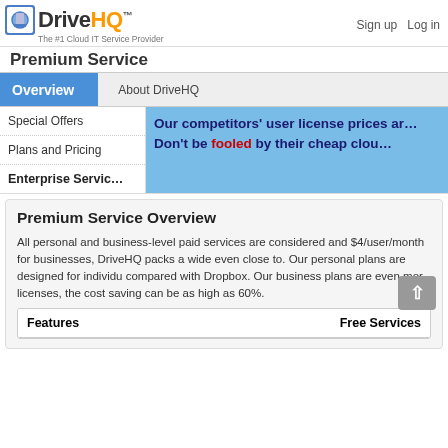DriveHQ™ — The #1 Cloud IT Service Provider | Sign up  Log in
Premium Service
Overview
About DriveHQ
Special Offers
Plans and Pricing
Enterprise Service
Our competitors' user license prices ar... Don't be fooled by their cheap clou...
Premium Service Overview
All personal and business-level paid services are considered and $4/user/month for businesses, DriveHQ packs a wide even close to. Our personal plans are designed for individu compared with Dropbox. Our business plans are even mor licenses, the cost saving can be as high as 60%.
| Features | Free Services |
| --- | --- |